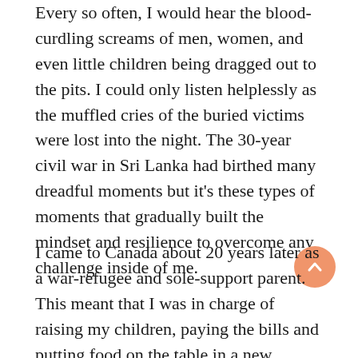Every so often, I would hear the blood-curdling screams of men, women, and even little children being dragged out to the pits. I could only listen helplessly as the muffled cries of the buried victims were lost into the night. The 30-year civil war in Sri Lanka had birthed many dreadful moments but it's these types of moments that gradually built the mindset and resilience to overcome any challenge inside of me.
I came to Canada about 20 years later as a war-refugee and sole-support parent. This meant that I was in charge of raising my children, paying the bills and putting food on the table in a new country all by myself. I was also responsible for taking care of my